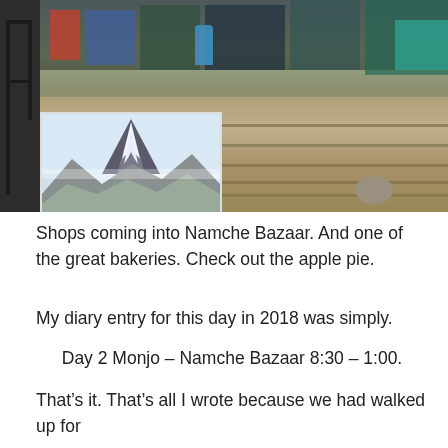[Figure (photo): Photo of shops and market area coming into Namche Bazaar with stone steps in the foreground, and an overlaid smaller photo of a snow-covered mountain peak.]
Shops coming into Namche Bazaar. And one of the great bakeries. Check out the apple pie.
My diary entry for this day in 2018 was simply.
Day 2 Monjo – Namche Bazaar 8:30 – 1:00.
That's it. That's all I wrote because we had walked up for the third time and we well knew, the sights and rest stops and just how strenuous it was. The step and hill training I have talked about in our training for EBC posts mean that you will get up there without aching all over. You will be